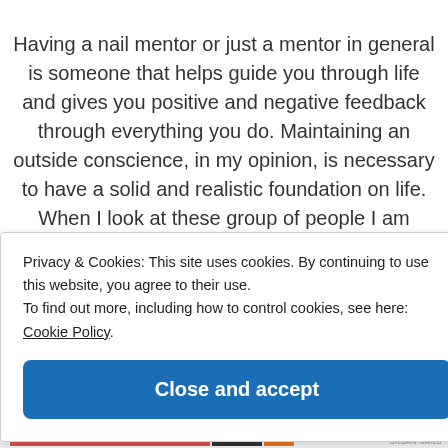Having a nail mentor or just a mentor in general is someone that helps guide you through life and gives you positive and negative feedback through everything you do. Maintaining an outside conscience, in my opinion, is necessary to have a solid and realistic foundation on life. When I look at these group of people I am thankful that each one thinks completely different of each other and has a separate outlook, but they all
Privacy & Cookies: This site uses cookies. By continuing to use this website, you agree to their use.
To find out more, including how to control cookies, see here: Cookie Policy
Close and accept